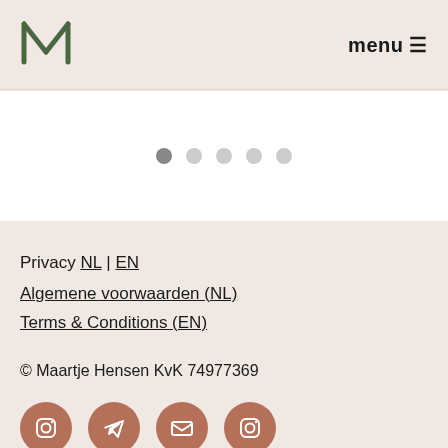[Figure (logo): Stylized M logo in dark green with geometric lines]
menu ≡
[Figure (other): Slideshow navigation dots: 5 circles, first one filled/active, rest empty/outlined]
Privacy NL | EN
Algemene voorwaarden (NL)
Terms & Conditions (EN)
© Maartje Hensen KvK 74977369
[Figure (other): Four circular brown/terracotta social media icon buttons: Instagram, Telegram, Email, Instagram]